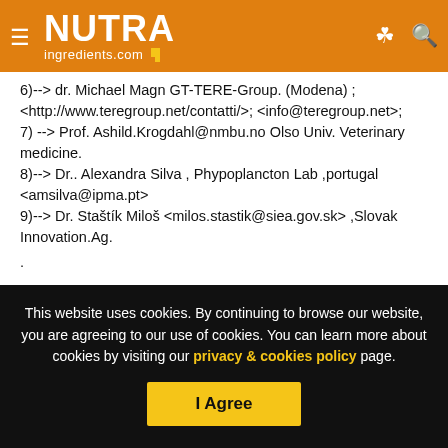NUTRAingredients.com
6)--> dr. Michael Magn GT-TERE-Group. (Modena) ; <http://www.teregroup.net/contatti/>; <info@teregroup.net>; 7) --> Prof. Ashild.Krogdahl@nmbu.no Olso Univ. Veterinary medicine. 8)--> Dr.. Alexandra Silva , Phypoplancton Lab ,portugal <amsilva@ipma.pt> 9)--> Dr. Staštík Miloš <milos.stastik@siea.gov.sk> ,Slovak Innovation.Ag. . Other potential partners :
This website uses cookies. By continuing to browse our website, you are agreeing to our use of cookies. You can learn more about cookies by visiting our privacy & cookies policy page.